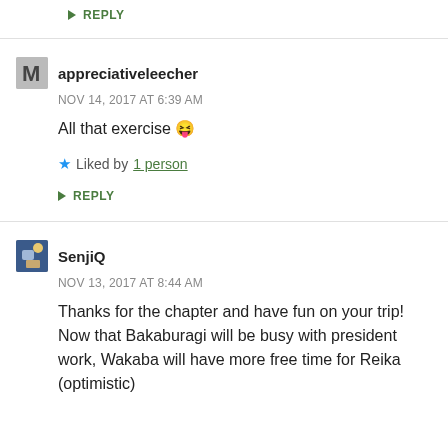↳ REPLY
appreciativeleecher
NOV 14, 2017 AT 6:39 AM
All that exercise 😝
Liked by 1 person
↳ REPLY
SenjiQ
NOV 13, 2017 AT 8:44 AM
Thanks for the chapter and have fun on your trip! Now that Bakaburagi will be busy with president work, Wakaba will have more free time for Reika (optimistic)